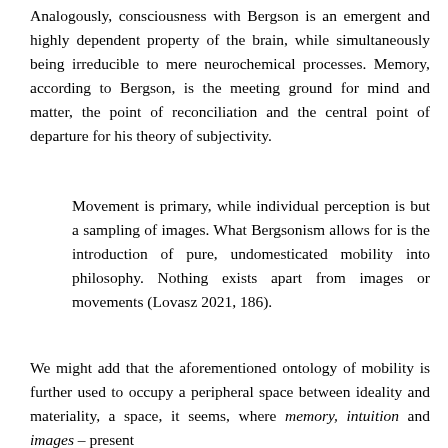Analogously, consciousness with Bergson is an emergent and highly dependent property of the brain, while simultaneously being irreducible to mere neurochemical processes. Memory, according to Bergson, is the meeting ground for mind and matter, the point of reconciliation and the central point of departure for his theory of subjectivity.
Movement is primary, while individual perception is but a sampling of images. What Bergsonism allows for is the introduction of pure, undomesticated mobility into philosophy. Nothing exists apart from images or movements (Lovasz 2021, 186).
We might add that the aforementioned ontology of mobility is further used to occupy a peripheral space between ideality and materiality, a space, it seems, where memory, intuition and images – present